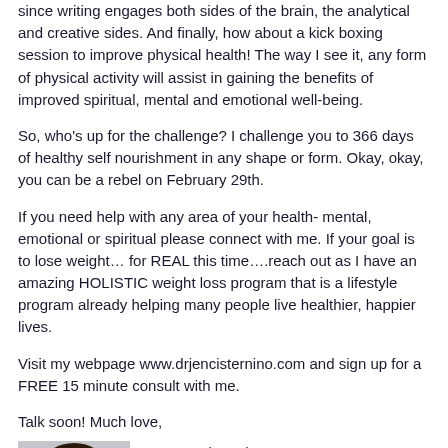since writing engages both sides of the brain, the analytical and creative sides. And finally, how about a kick boxing session to improve physical health! The way I see it, any form of physical activity will assist in gaining the benefits of improved spiritual, mental and emotional well-being.
So, who's up for the challenge? I challenge you to 366 days of healthy self nourishment in any shape or form. Okay, okay, you can be a rebel on February 29th.
If you need help with any area of your health- mental, emotional or spiritual please connect with me. If your goal is to lose weight… for REAL this time….reach out as I have an amazing HOLISTIC weight loss program that is a lifestyle program already helping many people live healthier, happier lives.
Visit my webpage www.drjencisternino.com and sign up for a FREE 15 minute consult with me.
Talk soon! Much love,
[Figure (photo): Portrait photo of Dr. Jen Cisternino, a woman with dark hair]
Dr. Jen Cisternino
Naturopath, Blogger, Speaker,
Holistic Weight Loss Expert